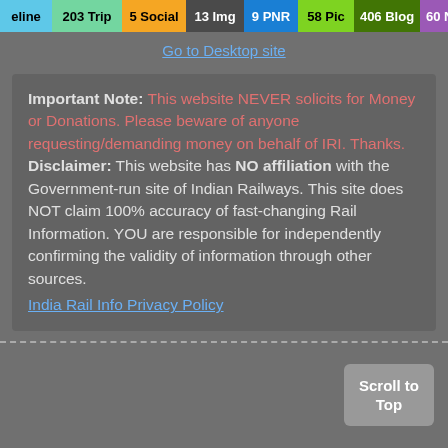eline  203 Trip  5 Social  13 Img  9 PNR  58 Pic  406 Blog  60 News  6 Topic
Go to Desktop site
Important Note: This website NEVER solicits for Money or Donations. Please beware of anyone requesting/demanding money on behalf of IRI. Thanks. Disclaimer: This website has NO affiliation with the Government-run site of Indian Railways. This site does NOT claim 100% accuracy of fast-changing Rail Information. YOU are responsible for independently confirming the validity of information through other sources.
India Rail Info Privacy Policy
Scroll to Top